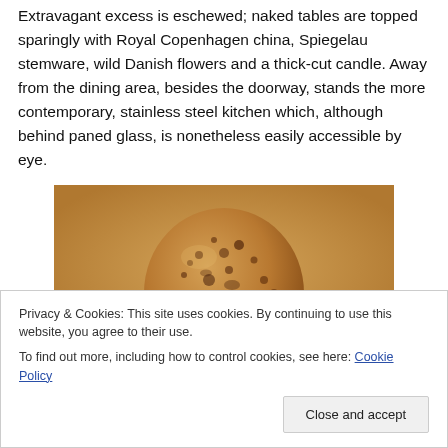Extravagant excess is eschewed; naked tables are topped sparingly with Royal Copenhagen china, Spiegelau stemware, wild Danish flowers and a thick-cut candle. Away from the dining area, besides the doorway, stands the more contemporary, stainless steel kitchen which, although behind paned glass, is nonetheless easily accessible by eye.
[Figure (photo): A speckled egg or dome-shaped food item on a white plate, photographed close-up against a warm background.]
Privacy & Cookies: This site uses cookies. By continuing to use this website, you agree to their use.
To find out more, including how to control cookies, see here: Cookie Policy
Close and accept